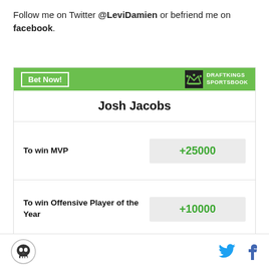Follow me on Twitter @LeviDamien or befriend me on facebook.
[Figure (other): DraftKings Sportsbook betting widget for Josh Jacobs showing odds: To win MVP +25000, To win Offensive Player of the Year +10000, Most Rushing Yards in League +4000]
Skull logo icon, Twitter bird icon, Facebook f icon